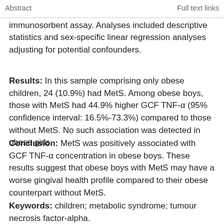Abstract   Full text links
of TNF-α was determined by enzyme-linked immunosorbent assay. Analyses included descriptive statistics and sex-specific linear regression analyses adjusting for potential confounders.
Results: In this sample comprising only obese children, 24 (10.9%) had MetS. Among obese boys, those with MetS had 44.9% higher GCF TNF-α (95% confidence interval: 16.5%-73.3%) compared to those without MetS. No such association was detected in obese girls.
Conclusion: MetS was positively associated with GCF TNF-α concentration in obese boys. These results suggest that obese boys with MetS may have a worse gingival health profile compared to their obese counterpart without MetS.
Keywords: children; metabolic syndrome; tumour necrosis factor-alpha.